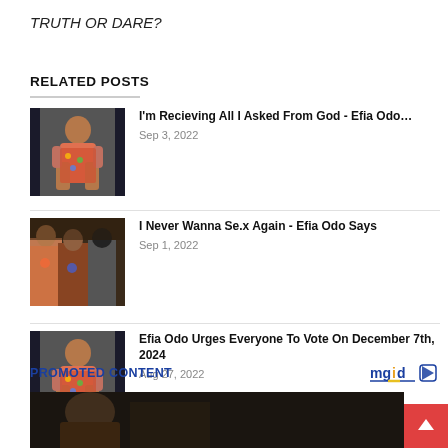TRUTH OR DARE?
RELATED POSTS
I'm Recieving All I Asked From God - Efia Odo…
Sep 3, 2022
I Never Wanna Se.x Again - Efia Odo Says
Sep 1, 2022
Efia Odo Urges Everyone To Vote On December 7th, 2024
Aug 27, 2022
PROMOTED CONTENT